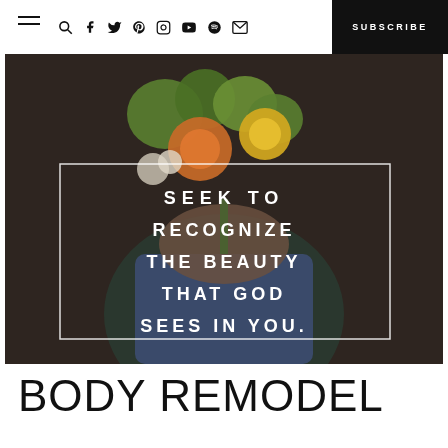Navigation bar with hamburger menu, search, social icons (Facebook, Twitter, Pinterest, Instagram, YouTube, Spotify, Email), and SUBSCRIBE button
[Figure (photo): A person holding a bouquet of colorful flowers (yellow roses, green and orange blooms) with a white-bordered quote overlay reading: SEEK TO RECOGNIZE THE BEAUTY THAT GOD SEES IN YOU.]
BODY REMODEL